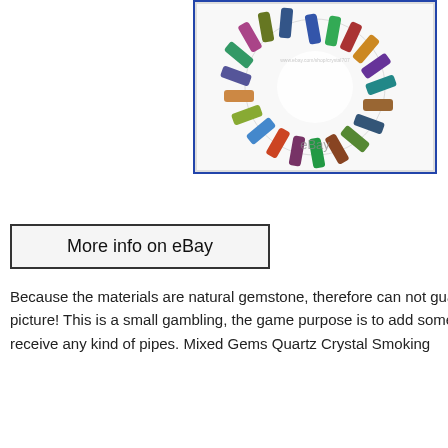[Figure (photo): Product photo of colorful gemstone pendants arranged in a circle on a white background, with a blue border frame. eBay watermark visible.]
[Figure (screenshot): Button image reading 'More info on eBay' with a rectangular border.]
Because the materials are natural gemstone, therefore can not guarantee exactly same as picture! This is a small gambling, the game purpose is to add some fun to life, you may receive any kind of pipes. Mixed Gems Quartz Crystal Smoking
Ashtray
Ash Tray
Iron Gifts
Smokers
Gift
Smoking
Pipe
Smoking
Bowl
Cigarette
THE WHITE SPOT
Dunhill smoking pipe
Limited
shell briar